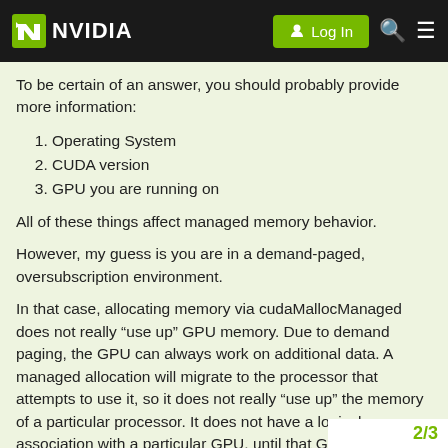NVIDIA | Log In
To be certain of an answer, you should probably provide more information:
1. Operating System
2. CUDA version
3. GPU you are running on
All of these things affect managed memory behavior.
However, my guess is you are in a demand-paged, oversubscription environment.
In that case, allocating memory via cudaMallocManaged does not really “use up” GPU memory. Due to demand paging, the GPU can always work on additional data. A managed allocation will migrate to the processor that attempts to use it, so it does not really “use up” the memory of a particular processor. It does not have a logical association with a particular GPU, until that GPU attem
2/3